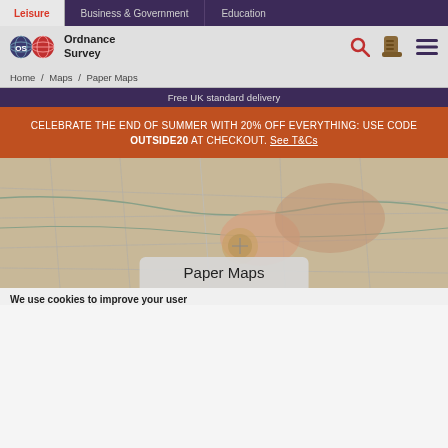Leisure | Business & Government | Education
[Figure (logo): Ordnance Survey logo with two circular globes and company name]
Home / Maps / Paper Maps
Free UK standard delivery
CELEBRATE THE END OF SUMMER WITH 20% OFF EVERYTHING: USE CODE OUTSIDE20 AT CHECKOUT. See T&Cs
[Figure (photo): Hands holding a compass over an Ordnance Survey paper map]
Paper Maps
We use cookies to improve your user...